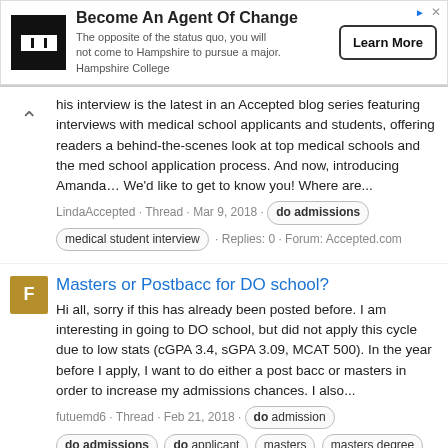[Figure (other): Advertisement banner for Hampshire College: 'Become An Agent Of Change' with logo, body text, and Learn More button]
his interview is the latest in an Accepted blog series featuring interviews with medical school applicants and students, offering readers a behind-the-scenes look at top medical schools and the med school application process. And now, introducing Amanda… We'd like to get to know you! Where are...
LindaAccepted · Thread · Mar 9, 2018 · do admissions · medical student interview · Replies: 0 · Forum: Accepted.com
Masters or Postbacc for DO school?
Hi all, sorry if this has already been posted before. I am interesting in going to DO school, but did not apply this cycle due to low stats (cGPA 3.4, sGPA 3.09, MCAT 500). In the year before I apply, I want to do either a post bacc or masters in order to increase my admissions chances. I also...
futuemd6 · Thread · Feb 21, 2018 · do admission · do admissions · do applicant · masters · masters degree · masters direct entry · possbaccalaureate programs · postbac premed · postbacc · pre-med advice · Replies: 9